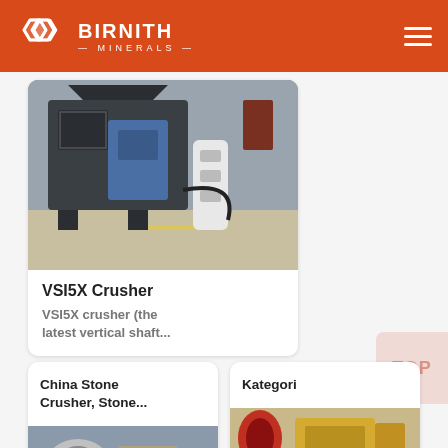BIRNITH MINERALS
[Figure (photo): Industrial VSI5X crusher machine in a factory setting]
VSI5X Crusher
VSI5X crusher (the latest vertical shaft...
China Stone Crusher, Stone...
Kategori
[Figure (photo): Partial image of stone crushing machinery, bottom of page]
[Figure (photo): Partial image of stone crusher equipment, bottom right]